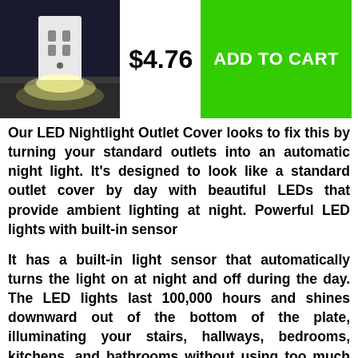[Figure (photo): Product photo of LED Nightlight Outlet Cover installed in a dark room, glowing downward onto a floor, showing an electrical outlet with light emanating from the bottom]
$4.76
ADD TO CART
Our LED Nightlight Outlet Cover looks to fix this by turning your standard outlets into an automatic night light. It's designed to look like a standard outlet cover by day with beautiful LEDs that provide ambient lighting at night. Powerful LED lights with built-in sensor
It has a built-in light sensor that automatically turns the light on at night and off during the day. The LED lights last 100,000 hours and shines downward out of the bottom of the plate, illuminating your stairs, hallways, bedrooms, kitchens, and bathrooms without using too much electricity.
Easy to install
It's a plug-and-play replacement for standard plug-in